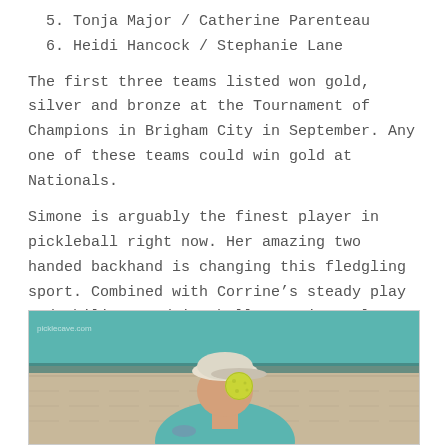5. Tonja Major / Catherine Parenteau
6. Heidi Hancock / Stephanie Lane
The first three teams listed won gold, silver and bronze at the Tournament of Champions in Brigham City in September. Any one of these teams could win gold at Nationals.
Simone is arguably the finest player in pickleball right now. Her amazing two handed backhand is changing this fledgling sport. Combined with Corrine’s steady play and ability to drive balls consistently within an inch of the net, this pair is wonderful to watch. See if Corrine ever stops smiling, even when she loses a point!
[Figure (photo): A female pickleball player wearing a white cap and teal tank top, with a yellow-green pickleball in front of her face, photographed against a teal and beige wall background. Watermark text visible in upper-left corner.]